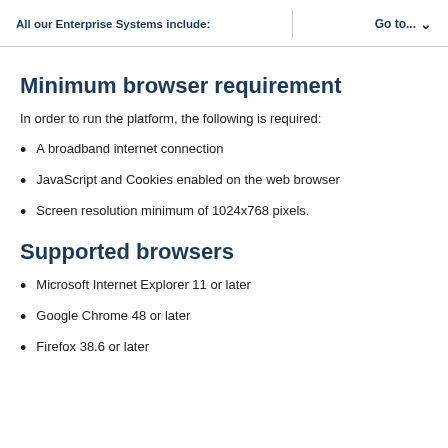All our Enterprise Systems include:  Go to...
Minimum browser requirement
In order to run the platform, the following is required:
A broadband internet connection
JavaScript and Cookies enabled on the web browser
Screen resolution minimum of 1024x768 pixels.
Supported browsers
Microsoft Internet Explorer 11 or later
Google Chrome 48 or later
Firefox 38.6 or later